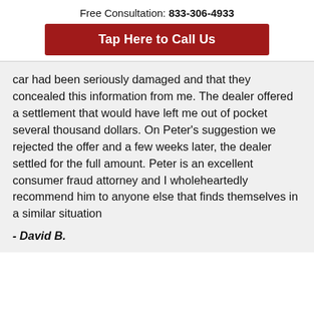Free Consultation: 833-306-4933
Tap Here to Call Us
car had been seriously damaged and that they concealed this information from me. The dealer offered a settlement that would have left me out of pocket several thousand dollars. On Peter's suggestion we rejected the offer and a few weeks later, the dealer settled for the full amount. Peter is an excellent consumer fraud attorney and I wholeheartedly recommend him to anyone else that finds themselves in a similar situation
- David B.